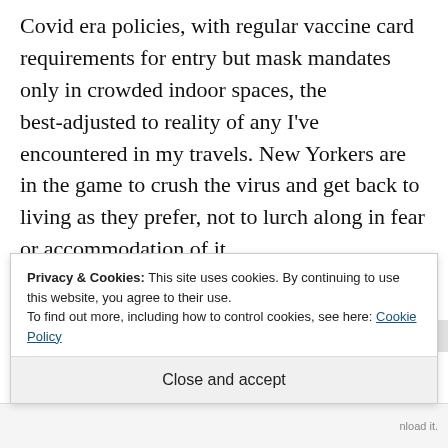Covid era policies, with regular vaccine card requirements for entry but mask mandates only in crowded indoor spaces, the best-adjusted to reality of any I've encountered in my travels. New Yorkers are in the game to crush the virus and get back to living as they prefer, not to lurch along in fear or accommodation of it.
Privacy & Cookies: This site uses cookies. By continuing to use this website, you agree to their use. To find out more, including how to control cookies, see here: Cookie Policy
Close and accept